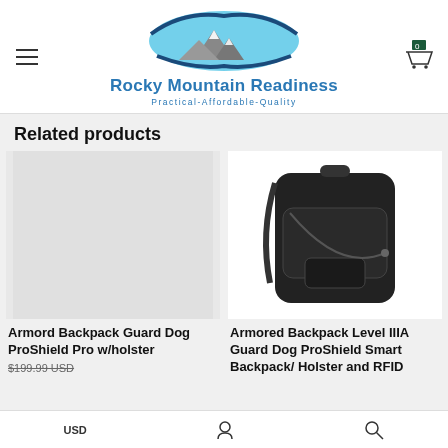[Figure (logo): Rocky Mountain Readiness logo with mountain and swoosh graphic, company name and tagline Practical-Affordable-Quality]
Related products
[Figure (photo): Empty product image placeholder for Armord Backpack Guard Dog ProShield Pro w/holster]
Armord Backpack Guard Dog ProShield Pro w/holster
$199.99 USD
[Figure (photo): Photo of black armored backpack - Armored Backpack Level IIIA Guard Dog ProShield Smart Backpack / Holster and RFID]
Armored Backpack Level IIIA Guard Dog ProShield Smart Backpack/ Holster and RFID
USD  [user icon]  [search icon]